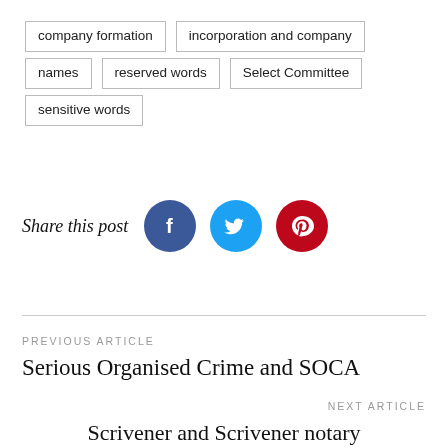company formation
incorporation and company
names
reserved words
Select Committee
sensitive words
Share this post
[Figure (infographic): Social media share icons: Facebook (dark blue circle), Twitter (light blue circle), Pinterest (red circle)]
PREVIOUS ARTICLE
Serious Organised Crime and SOCA
NEXT ARTICLE
Scrivener and Scrivener notary